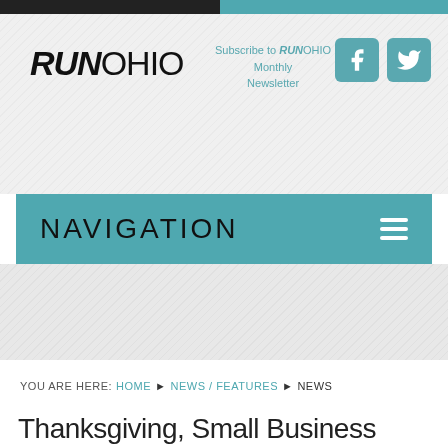RUNOHIO — Subscribe to RUNOHIO Monthly Newsletter
NAVIGATION
YOU ARE HERE: HOME ▶ NEWS / FEATURES ▶ NEWS
Thanksgiving, Small Business Saturday,